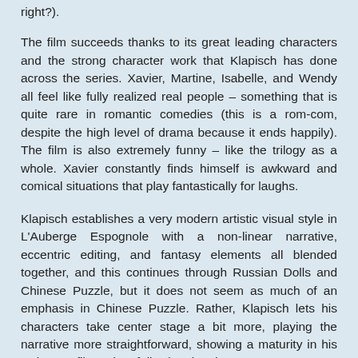right?).
The film succeeds thanks to its great leading characters and the strong character work that Klapisch has done across the series. Xavier, Martine, Isabelle, and Wendy all feel like fully realized real people – something that is quite rare in romantic comedies (this is a rom-com, despite the high level of drama because it ends happily). The film is also extremely funny – like the trilogy as a whole. Xavier constantly finds himself is awkward and comical situations that play fantastically for laughs.
Klapisch establishes a very modern artistic visual style in L'Auberge Espognole with a non-linear narrative, eccentric editing, and fantasy elements all blended together, and this continues through Russian Dolls and Chinese Puzzle, but it does not seem as much of an emphasis in Chinese Puzzle. Rather, Klapisch lets his characters take center stage a bit more, playing the narrative more straightforward, showing a maturity in his style as a filmmaker, following the characters' own arcs.